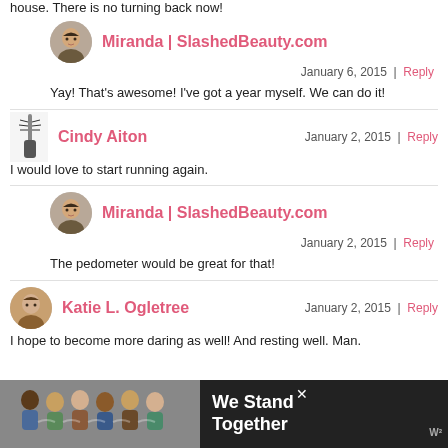house. There is no turning back now!
Miranda | SlashedBeauty.com
January 6, 2015 | Reply
Yay! That's awesome! I've got a year myself. We can do it!
Cindy Aiton
January 2, 2015 | Reply
I would love to start running again.
Miranda | SlashedBeauty.com
January 2, 2015 | Reply
The pedometer would be great for that!
Katie L. Ogletree
January 2, 2015 | Reply
I hope to become more daring as well! And resting well. Man.
[Figure (photo): Advertisement banner: group of people hugging with text 'We Stand Together']